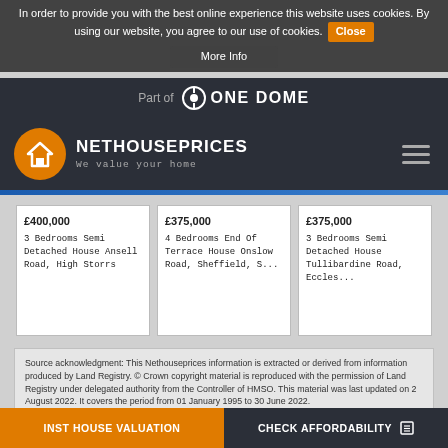In order to provide you with the best online experience this website uses cookies. By using our website, you agree to our use of cookies. Close
More Info
[Figure (logo): OneDome logo with text 'Part of One Dome']
[Figure (logo): NetHousePrices logo - orange circle with house icon, text NETHOUSEPRICES We value your home, hamburger menu]
£400,000
3 Bedrooms Semi Detached House
Ansell Road, High Storrs
£375,000
4 Bedrooms End Of Terrace House
Onslow Road, Sheffield, S...
£375,000
3 Bedrooms Semi Detached House
Tullibardine Road, Eccles...
Source acknowledgment: This Nethouseprices information is extracted or derived from information produced by Land Registry. © Crown copyright material is reproduced with the permission of Land Registry under delegated authority from the Controller of HMSO. This material was last updated on 2 August 2022. It covers the period from 01 January 1995 to 30 June 2022. ... to download it onto electronic, magnetic, optical or similar storage media provided that such activities are for
INST HOUSE VALUATION
CHECK AFFORDABILITY